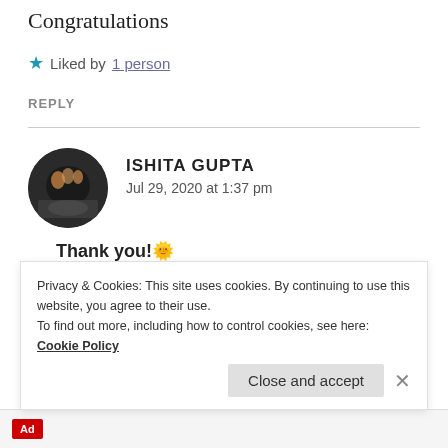Congratulations
★ Liked by 1 person
REPLY
ISHITA GUPTA
Jul 29, 2020 at 1:37 pm
Thank you! 🙂
Privacy & Cookies: This site uses cookies. By continuing to use this website, you agree to their use.
To find out more, including how to control cookies, see here: Cookie Policy
Close and accept